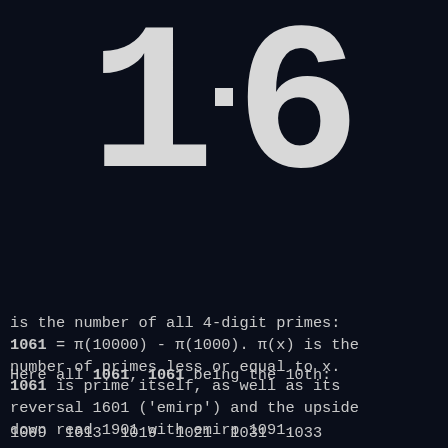106□
is the number of all 4-digit primes: 1061 = π(10000) - π(1000). π(x) is the number of primes less or equal to x.
1061 is prime itself, as well as its reversal 1601 ('emirp') and the upside down read 1901 with emirp 1091.
Here all 1061, 1061 being the 10th:
1009  1013  1019  1021  1031  1033